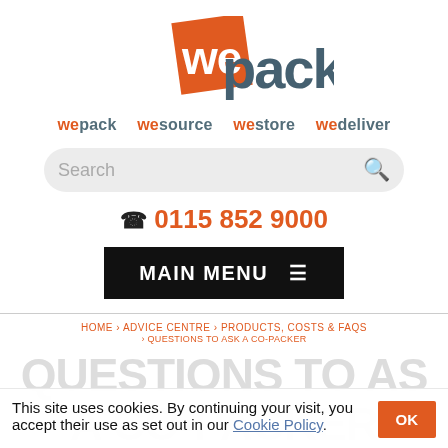[Figure (logo): WePack logo: orange square with white 'we' text overlapping dark teal 'pack' text]
wepack  wesource  westore  wedeliver
Search
☎ 0115 852 9000
MAIN MENU ≡
HOME › ADVICE CENTRE › PRODUCTS, COSTS & FAQS
› QUESTIONS TO ASK A CO-PACKER
QUESTIONS TO AS A CO-PACKER
This site uses cookies. By continuing your visit, you accept their use as set out in our Cookie Policy.
OK